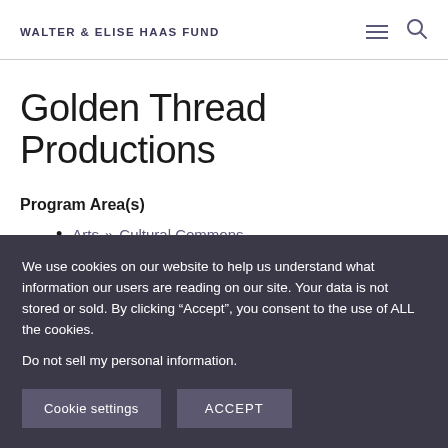WALTER & ELISE HAAS FUND
Golden Thread Productions
Program Area(s)
Arts » Cultural Commons
We use cookies on our website to help us understand what information our users are reading on our site. Your data is not stored or sold. By clicking "Accept", you consent to the use of ALL the cookies.
Do not sell my personal information.